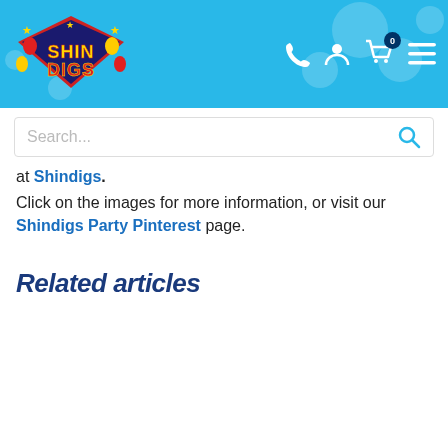Shindigs - Header with logo and navigation
at Shindigs.
Click on the images for more information, or visit our Shindigs Party Pinterest page.
Related articles